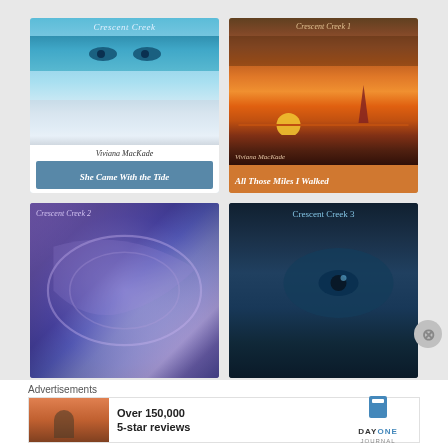[Figure (illustration): Book cover for 'Crescent Creek' - She Came With the Tide by Viviana MacKade, featuring close-up blue eyes over ocean waves, teal/blue tones]
[Figure (illustration): Book cover for 'Crescent Creek 1' - All Those Miles I Walked by Viviana MacKade, featuring close-up eyes over dramatic sunset with sailboat, orange/red tones]
[Figure (illustration): Book cover for 'Crescent Creek 2', featuring swirling purple/violet abstract with partial face, purple tones]
[Figure (illustration): Book cover for 'Crescent Creek 3', featuring close-up dark blue eye, dark teal/blue tones]
Advertisements
[Figure (photo): Advertisement banner: 'Over 150,000 5-star reviews' for DAY ONE JOURNAL app, showing person photographing landscape at sunset]